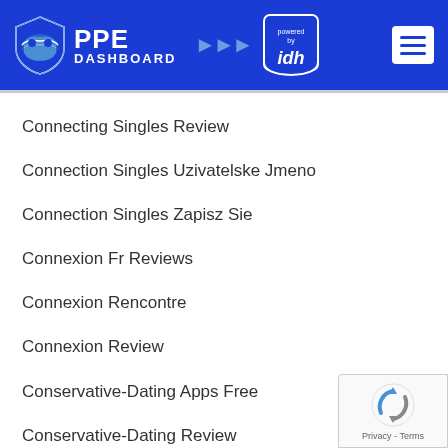[Figure (logo): PPE Dashboard logo with shield icon and 'powered by idh' badge on blue header background, with hamburger menu button on the right]
Connecting Singles Review
Connection Singles Uzivatelske Jmeno
Connection Singles Zapisz Sie
Connexion Fr Reviews
Connexion Rencontre
Connexion Review
Conservative-Dating Apps Free
Conservative-Dating Review
[Figure (other): reCAPTCHA badge with recycling arrows icon and Privacy - Terms text]